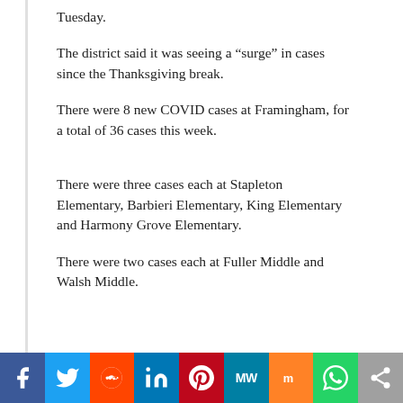Tuesday.
The district said it was seeing a “surge” in cases since the Thanksgiving break.
There were 8 new COVID cases at Framingham, for a total of 36 cases this week.
There were three cases each at Stapleton Elementary, Barbieri Elementary, King Elementary and Harmony Grove Elementary.
There were two cases each at Fuller Middle and Walsh Middle.
[Figure (other): Social media share buttons: Facebook, Twitter, Reddit, LinkedIn, Pinterest, MeWe, Mix, WhatsApp, Share]